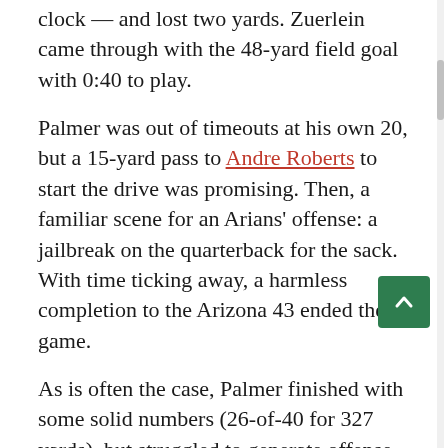clock — and lost two yards. Zuerlein came through with the 48-yard field goal with 0:40 to play.
Palmer was out of timeouts at his own 20, but a 15-yard pass to Andre Roberts to start the drive was promising. Then, a familiar scene for an Arians' offense: a jailbreak on the quarterback for the sack. With time ticking away, a harmless completion to the Arizona 43 ended the game.
As is often the case, Palmer finished with some solid numbers (26-of-40 for 327 yards), but struggled to generate offense on the final four drives. It's not as easy to overcome protection issues when the quarterback is not Andrew Luck.
For the Rams, it's their first Week 1 win since 20__ when the team finished 8-8. It was the first time they came back from a two-score deficit in the fourth quarter since a 14-point comeback against